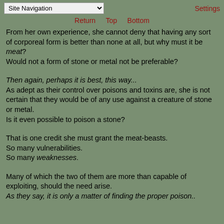Site Navigation | Settings
Return  Top  Bottom
From her own experience, she cannot deny that having any sort of corporeal form is better than none at all, but why must it be meat? Would not a form of stone or metal not be preferable?
Then again, perhaps it is best, this way... As adept as their control over poisons and toxins are, she is not certain that they would be of any use against a creature of stone or metal. Is it even possible to poison a stone?
That is one credit she must grant the meat-beasts. So many vulnerabilities. So many weaknesses.
Many of which the two of them are more than capable of exploiting, should the need arise. As they say, it is only a matter of finding the proper poison..